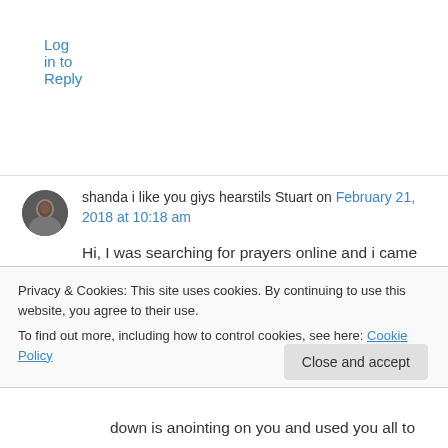Log in to Reply
shanda i like you giys hearstils Stuart on February 21, 2018 at 10:18 am
Hi, I was searching for prayers online and i came up on this website, God is good. this is a wonderful website it really touches my heart. I
Privacy & Cookies: This site uses cookies. By continuing to use this website, you agree to their use.
To find out more, including how to control cookies, see here: Cookie Policy
Close and accept
down is anointing on you and used you all to